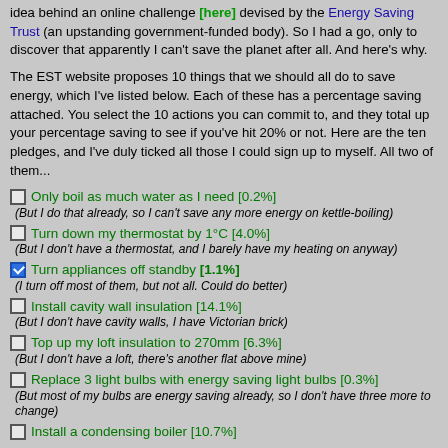idea behind an online challenge [here] devised by the Energy Saving Trust (an upstanding government-funded body). So I had a go, only to discover that apparently I can't save the planet after all. And here's why.
The EST website proposes 10 things that we should all do to save energy, which I've listed below. Each of these has a percentage saving attached. You select the 10 actions you can commit to, and they total up your percentage saving to see if you've hit 20% or not. Here are the ten pledges, and I've duly ticked all those I could sign up to myself. All two of them...
Only boil as much water as I need [0.2%] (But I do that already, so I can't save any more energy on kettle-boiling)
Turn down my thermostat by 1°C [4.0%] (But I don't have a thermostat, and I barely have my heating on anyway)
Turn appliances off standby [1.1%] (I turn off most of them, but not all. Could do better)
Install cavity wall insulation [14.1%] (But I don't have cavity walls, I have Victorian brick)
Top up my loft insulation to 270mm [6.3%] (But I don't have a loft, there's another flat above mine)
Replace 3 light bulbs with energy saving light bulbs [0.3%] (But most of my bulbs are energy saving already, so I don't have three more to change)
Install a condensing boiler [10.7%]